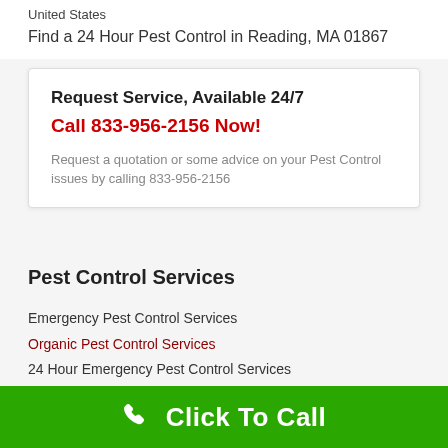United States
Find a 24 Hour Pest Control in Reading, MA 01867
Request Service, Available 24/7
Call 833-956-2156 Now!
Request a quotation or some advice on your Pest Control issues by calling 833-956-2156
Pest Control Services
Emergency Pest Control Services
Organic Pest Control Services
24 Hour Emergency Pest Control Services
Pest Control
Termite Control
Service Areas
Click To Call